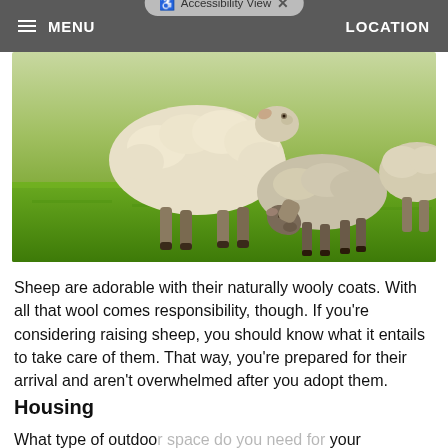MENU   LOCATION
[Figure (photo): Two sheep on green grass — a large fluffy white sheep standing upright and a smaller grey-faced lamb grazing with head down, with a partial third sheep visible at right edge]
Sheep are adorable with their naturally wooly coats. With all that wool comes responsibility, though. If you're considering raising sheep, you should know what it entails to take care of them. That way, you're prepared for their arrival and aren't overwhelmed after you adopt them.
Housing
What type of outdoor space do you need for your